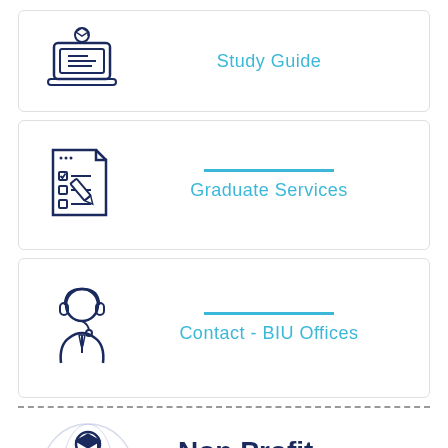[Figure (illustration): Icon of a person at a laptop/computer with a graduation cap, representing a study guide]
Study Guide
[Figure (illustration): Icon of a document with checkboxes and a pencil, representing graduate services]
Graduate Services
[Figure (illustration): Icon of a person wearing a headset, representing contact/BIU offices support]
Contact - BIU Offices
[Figure (illustration): Illustration of a graduate student holding a book with a globe background and 501c3 US flag badge]
Non Profit Organization